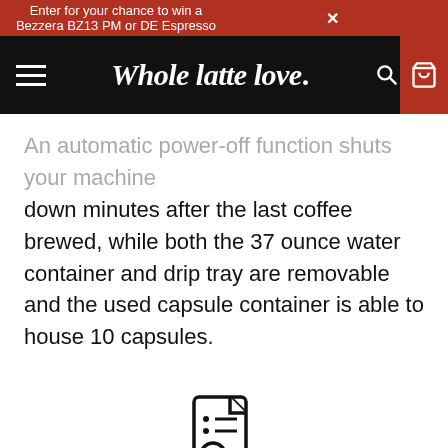Enter for your chance to win a Bezzera BZ13 PM or DE Espresso ×
[Figure (screenshot): Whole latte love. navigation bar with hamburger menu, logo, search icon, and cart icon]
An automatic power-off function shuts your machine down minutes after the last coffee brewed, while both the 37 ounce water container and drip tray are removable and the used capsule container is able to house 10 capsules.
[Figure (illustration): Specifications icon: document with magnifying glass]
Specifications